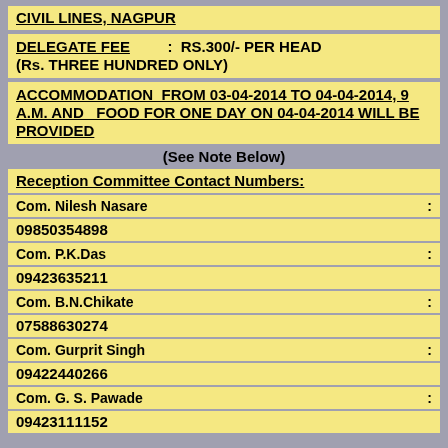CIVIL LINES, NAGPUR
DELEGATE FEE : RS.300/- PER HEAD (Rs. THREE HUNDRED ONLY)
ACCOMMODATION FROM 03-04-2014 TO 04-04-2014, 9 A.M. AND FOOD FOR ONE DAY ON 04-04-2014 WILL BE PROVIDED
(See Note Below)
Reception Committee Contact Numbers:
Com. Nilesh Nasare : 09850354898
Com. P.K.Das : 09423635211
Com. B.N.Chikate : 07588630274
Com. Gurprit Singh : 09422440266
Com. G. S. Pawade : 09423111152